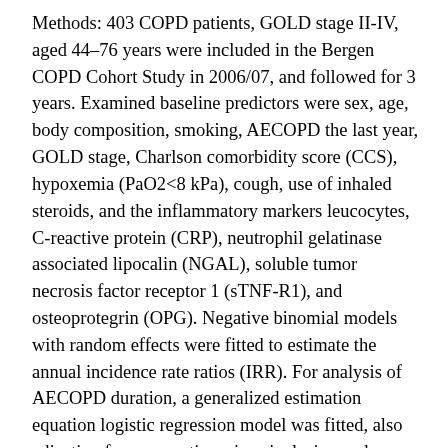Methods: 403 COPD patients, GOLD stage II-IV, aged 44–76 years were included in the Bergen COPD Cohort Study in 2006/07, and followed for 3 years. Examined baseline predictors were sex, age, body composition, smoking, AECOPD the last year, GOLD stage, Charlson comorbidity score (CCS), hypoxemia (PaO2<8 kPa), cough, use of inhaled steroids, and the inflammatory markers leucocytes, C-reactive protein (CRP), neutrophil gelatinase associated lipocalin (NGAL), soluble tumor necrosis factor receptor 1 (sTNF-R1), and osteoprotegrin (OPG). Negative binomial models with random effects were fitted to estimate the annual incidence rate ratios (IRR). For analysis of AECOPD duration, a generalized estimation equation logistic regression model was fitted, also adjusting for season, time since inclusion and AECOPD severity. Results: After multivariate adjustment, significant predictors of AECOPD were: female sex [IRR 1.45 (1.14–1.84)], age per 10 year increase [1.23 (1.03–1.47)], >1 AECOPD last year before baseline [1.65 (1.34–2.21)], GOLD III [1.36 (1.07–1.74)]